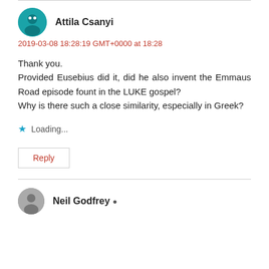Attila Csanyi
2019-03-08 18:28:19 GMT+0000 at 18:28

Thank you.
Provided Eusebius did it, did he also invent the Emmaus Road episode fount in the LUKE gospel?
Why is there such a close similarity, especially in Greek?
Loading...
Reply
Neil Godfrey